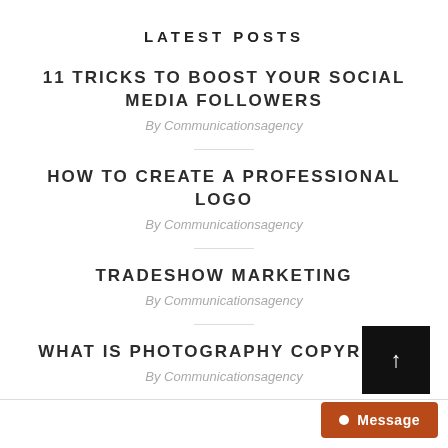LATEST POSTS
11 TRICKS TO BOOST YOUR SOCIAL MEDIA FOLLOWERS
By Communicationsagency
HOW TO CREATE A PROFESSIONAL LOGO
By Communicationsagency
TRADESHOW MARKETING
By Communicationsagency
WHAT IS PHOTOGRAPHY COPYRIGHT
By Communicationsagency